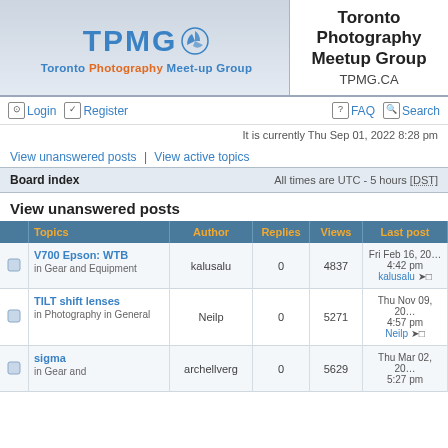[Figure (logo): TPMG Toronto Photography Meet-up Group logo with blue text and pinwheel icon]
Toronto Photography Meetup Group
TPMG.CA
Login  Register  FAQ  Search
It is currently Thu Sep 01, 2022 8:28 pm
View unanswered posts | View active topics
Board index  All times are UTC - 5 hours [DST]
View unanswered posts
|  | Topics | Author | Replies | Views | Last post |
| --- | --- | --- | --- | --- | --- |
|  | V700 Epson: WTB
in Gear and Equipment | kalusalu | 0 | 4837 | Fri Feb 16, 20...
4:42 pm
kalusalu |
|  | TILT shift lenses
in Photography in General | Neilp | 0 | 5271 | Thu Nov 09, 20...
4:57 pm
Neilp |
|  | sigma
in Gear and... | archellverg | 0 | 5629 | Thu Mar 02, 20...
5:27 pm |